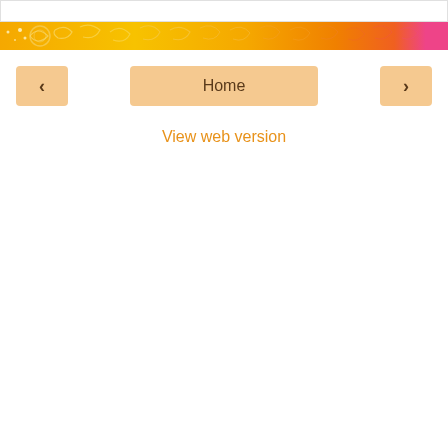[Figure (illustration): Decorative banner strip with orange, yellow, gold swirling floral patterns and a hint of pink on the right edge]
‹
Home
›
View web version